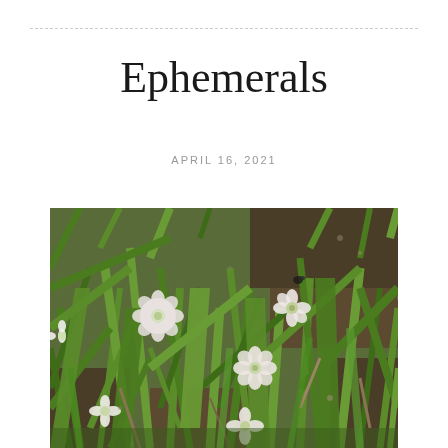Ephemerals
APRIL 16, 2021
[Figure (photo): Close-up photograph of small white/pale pink wildflowers (spring ephemerals) growing among green grass blades and brown leaf litter on the ground]